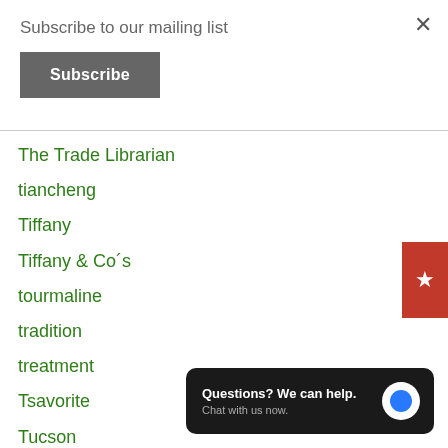Subscribe to our mailing list
Subscribe
The Trade Librarian
tiancheng
Tiffany
Tiffany & Co´s
tourmaline
tradition
treatment
Tsavorite
Tucson
USA
Questions? We can help. Chat with us now.